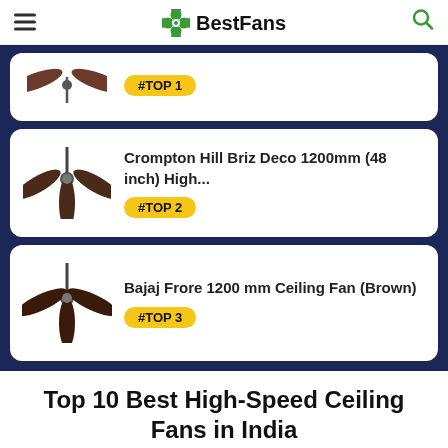BestFans
Crompton Hill Briz Deco 1200mm (48 inch) High... #TOP 2
Bajaj Frore 1200 mm Ceiling Fan (Brown) #TOP 3
Top 10 Best High-Speed Ceiling Fans in India